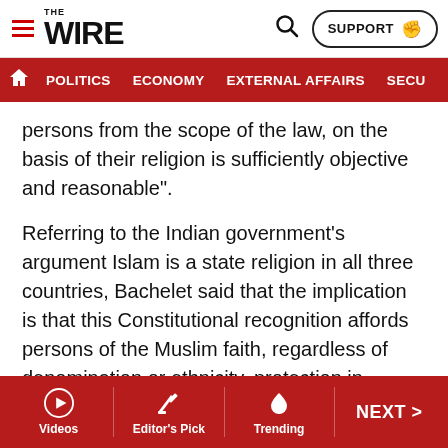THE WIRE — POLITICS | ECONOMY | EXTERNAL AFFAIRS | SECU…
persons from the scope of the law, on the basis of their religion is sufficiently objective and reasonable”.
Referring to the Indian government’s argument Islam is a state religion in all three countries, Bachelet said that the implication is that this Constitutional recognition affords persons of the Muslim faith, regardless of denomination or ethnicity, protection in Afghanistan, Bangladesh and Pakistan.
“However, recent reports by UN human rights treaty bodies, special procedures and other mechanism ascertain that there exist a number of religious groups considered religious minorities in those countries, especially of the
Videos | Editor's Pick | Trending | NEXT >